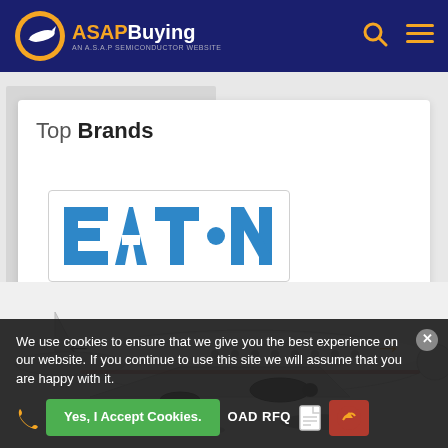[Figure (logo): ASAP Buying logo — orange plane icon with 'ASAPBuying' text in orange/white and subtitle 'AN A.S.A.P SEMICONDUCTOR WEBSITE' on dark navy background]
Top Brands
[Figure (logo): Eaton logo in blue: stylized letters E-A-T-dot-N]
[Figure (photo): White business jet aircraft shown from the side, with navigation arrow overlays (left arrow in grey, right arrow in orange)]
We use cookies to ensure that we give you the best experience on our website. If you continue to use this site we will assume that you are happy with it.
Yes, I Accept Cookies.